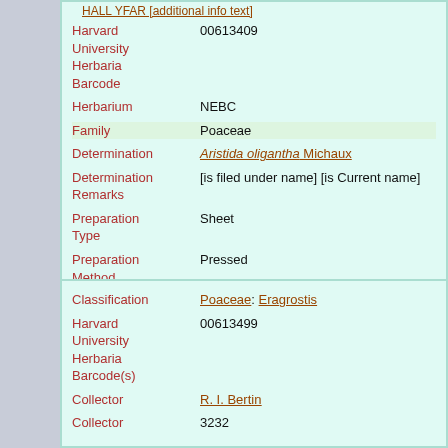| Field | Value |
| --- | --- |
| Harvard University Herbaria Barcode | 00613409 |
| Herbarium | NEBC |
| Family | Poaceae |
| Determination | Aristida oligantha Michaux |
| Determination Remarks | [is filed under name] [is Current name] |
| Preparation Type | Sheet |
| Preparation Method | Pressed |
| Field | Value |
| --- | --- |
| Classification | Poaceae: Eragrostis |
| Harvard University Herbaria Barcode(s) | 00613499 |
| Collector | R. I. Bertin |
| Collector | 3232 |